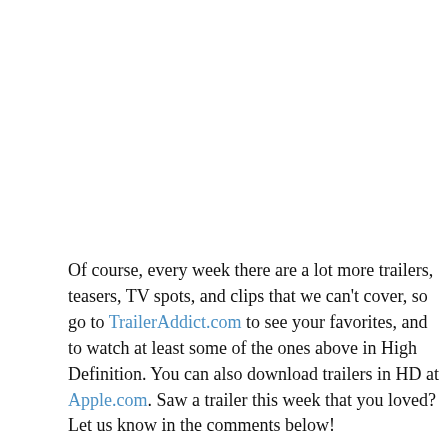Of course, every week there are a lot more trailers, teasers, TV spots, and clips that we can't cover, so go to TrailerAddict.com to see your favorites, and to watch at least some of the ones above in High Definition. You can also download trailers in HD at Apple.com. Saw a trailer this week that you loved? Let us know in the comments below!
[Figure (other): Social sharing buttons row: Twitter, Reddit, StumbleUpon, Facebook, Google+, Pinterest, Digg]
Chronicles of Narnia: Voyage of the Dawn Treader
Legend of the Guardians   Never Let Me Go